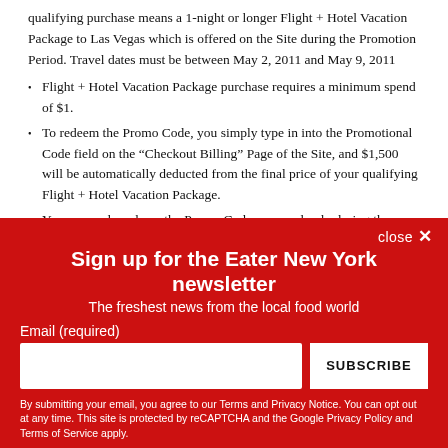qualifying purchase means a 1-night or longer Flight + Hotel Vacation Package to Las Vegas which is offered on the Site during the Promotion Period. Travel dates must be between May 2, 2011 and May 9, 2011
Flight + Hotel Vacation Package purchase requires a minimum spend of $1.
To redeem the Promo Code, you simply type in into the Promotional Code field on the “Checkout Billing” Page of the Site, and $1,500 will be automatically deducted from the final price of your qualifying Flight + Hotel Vacation Package.
You may only redeem the Promo Code once and only during the Promotion Period.
close ×
Sign up for the Eater New York newsletter
The freshest news from the local food world
Email (required)
SUBSCRIBE
By submitting your email, you agree to our Terms and Privacy Notice. You can opt out at any time. This site is protected by reCAPTCHA and the Google Privacy Policy and Terms of Service apply.